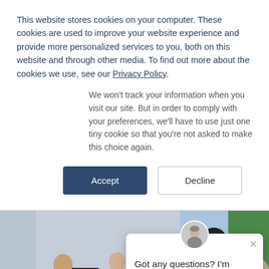This website stores cookies on your computer. These cookies are used to improve your website experience and provide more personalized services to you, both on this website and through other media. To find out more about the cookies we use, see our Privacy Policy.
We won't track your information when you visit our site. But in order to comply with your preferences, we'll have to use just one tiny cookie so that you're not asked to make this choice again.
Accept | Decline
[Figure (photo): Classroom photo showing students at computers working on a project. Some students are seated at desktop computers, others are focused on a hands-on activity in the foreground. A person with a camera stands in the background. A chat widget overlay appears on the right side with an avatar and the message 'Got any questions? I'm happy to help.' A teal circular chat button is visible in the bottom right.]